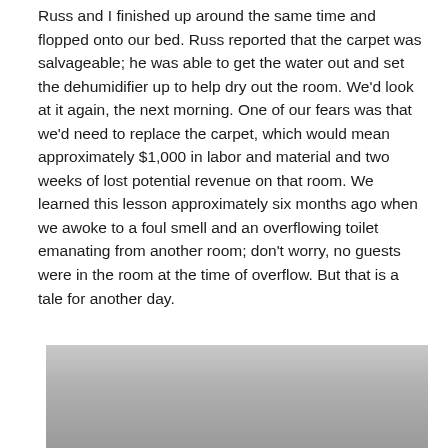Russ and I finished up around the same time and flopped onto our bed. Russ reported that the carpet was salvageable; he was able to get the water out and set the dehumidifier up to help dry out the room. We'd look at it again, the next morning. One of our fears was that we'd need to replace the carpet, which would mean approximately $1,000 in labor and material and two weeks of lost potential revenue on that room. We learned this lesson approximately six months ago when we awoke to a foul smell and an overflowing toilet emanating from another room; don't worry, no guests were in the room at the time of overflow. But that is a tale for another day.
[Figure (photo): Partial view of a photograph, mostly gray/silver toned, cropped at the bottom of the page.]